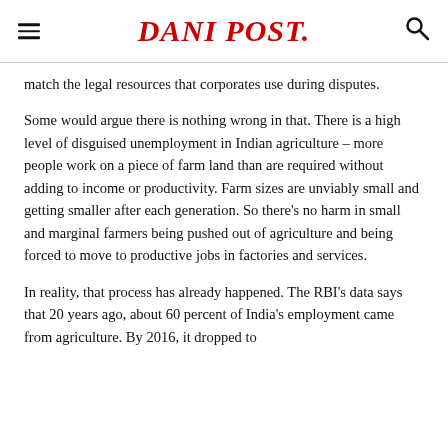DANI POST.
match the legal resources that corporates use during disputes.
Some would argue there is nothing wrong in that. There is a high level of disguised unemployment in Indian agriculture – more people work on a piece of farm land than are required without adding to income or productivity. Farm sizes are unviably small and getting smaller after each generation. So there's no harm in small and marginal farmers being pushed out of agriculture and being forced to move to productive jobs in factories and services.
In reality, that process has already happened. The RBI's data says that 20 years ago, about 60 percent of India's employment came from agriculture. By 2016, it dropped to